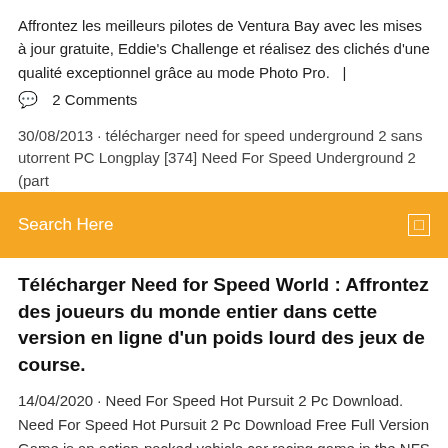Affrontez les meilleurs pilotes de Ventura Bay avec les mises à jour gratuite, Eddie's Challenge et réalisez des clichés d'une qualité exceptionnel grâce au mode Photo Pro.   |
💬  2 Comments
30/08/2013 · télécharger need for speed underground 2 sans utorrent PC Longplay [374] Need For Speed Underground 2 (part
Search Here
Télécharger Need for Speed World : Affrontez des joueurs du monde entier dans cette version en ligne d'un poids lourd des jeux de course.
14/04/2020 · Need For Speed Hot Pursuit 2 Pc Download. Need For Speed Hot Pursuit 2 Pc Download Free Full Version Game is an action-packed vehicle car racing game in the NFS Games. EA Black Box and EA Seattle developed NFS Hot Pursuit 2 Torrent.It is the 6th main installment game in … Télécharger Need for Speed World - 01net.com - Telecharger.com